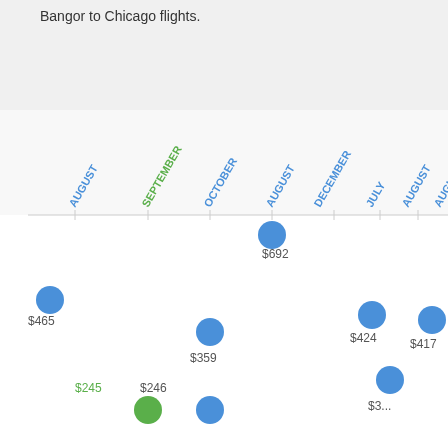Bangor to Chicago flights.
[Figure (scatter-plot): Bangor to Chicago flights]